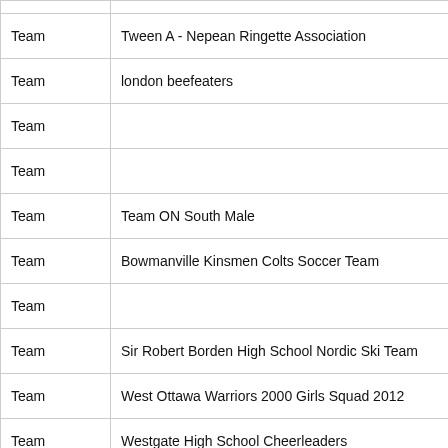| Type | Name |
| --- | --- |
| Team | Tween A - Nepean Ringette Association |
| Team | london beefeaters |
| Team |  |
| Team |  |
| Team | Team ON South Male |
| Team | Bowmanville Kinsmen Colts Soccer Team |
| Team |  |
| Team | Sir Robert Borden High School Nordic Ski Team |
| Team | West Ottawa Warriors 2000 Girls Squad 2012 |
| Team | Westgate High School Cheerleaders |